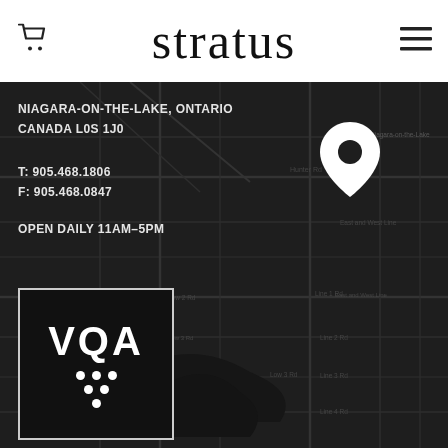stratus
NIAGARA-ON-THE-LAKE, ONTARIO
CANADA L0S 1J0
T: 905.468.1806
F: 905.468.0847
OPEN DAILY 11AM–5PM
[Figure (logo): VQA logo — white square border on dark background with VQA text and grape cluster dots]
[Figure (logo): Somewhereness logo — white background with bold black text reading 'some WHERE ness']
[Figure (logo): Ontario Certified Sustainable Winemaking circular badge with bird/leaf icon]
[Figure (map): Dark themed road map showing Niagara-on-the-Lake, Ontario area with white map pin marker]